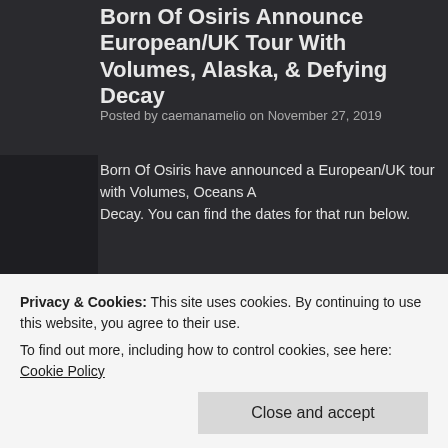Born Of Osiris Announce European/UK Tour With Volumes, Oceans Alaska, & Defying Decay
Posted by caemanamelio on November 27, 2019
Born Of Osiris have announced a European/UK tour with Volumes, Oceans Alaska, & Defying Decay. You can find the dates for that run below.
[Figure (photo): Promotional image for The Simulation Tour featuring Born Of Osiris logo in cyan/teal stylized lettering on a purple background with green pillar on the left. A pink banner reads THE SIMULATION TOUR.]
Privacy & Cookies: This site uses cookies. By continuing to use this website, you agree to their use.
To find out more, including how to control cookies, see here: Cookie Policy
Close and accept